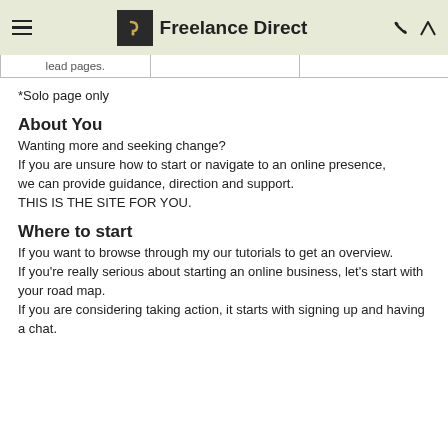Freelance Direct
| lead pages. |  |  |
*Solo page only
About You
Wanting more and seeking change?
If you are unsure how to start or navigate to an online presence,
we can provide guidance, direction and support.
THIS IS THE SITE FOR YOU.
Where to start
If you want to browse through my our tutorials to get an overview.
If you're really serious about starting an online business, let's start with your road map.
If you are considering taking action, it starts with signing up and having a chat.